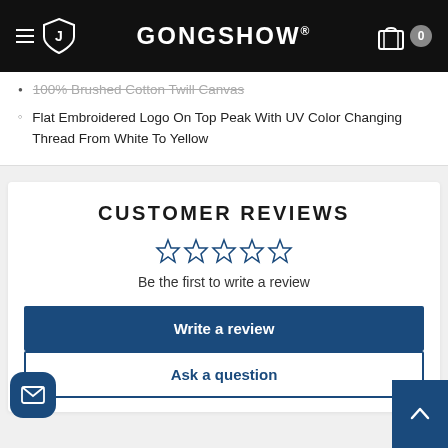GONGSHOW
100% Brushed Cotton Twill Canvas
Flat Embroidered Logo On Top Peak With UV Color Changing Thread From White To Yellow
CUSTOMER REVIEWS
Be the first to write a review
Write a review
Ask a question